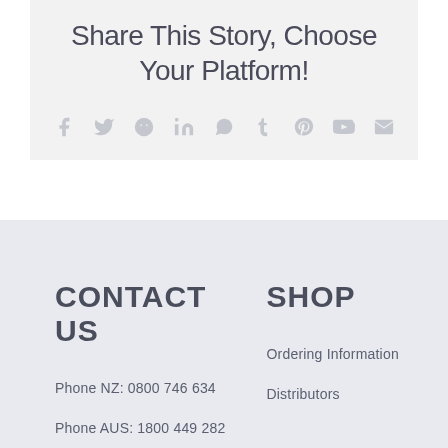Share This Story, Choose Your Platform!
[Figure (infographic): Social sharing icons row: Facebook, Twitter, Reddit, LinkedIn, WhatsApp, Tumblr, Pinterest, VKontakte, Email]
CONTACT US
SHOP
Phone NZ: 0800 746 634
Ordering Information
Phone AUS: 1800 449 282
Distributors